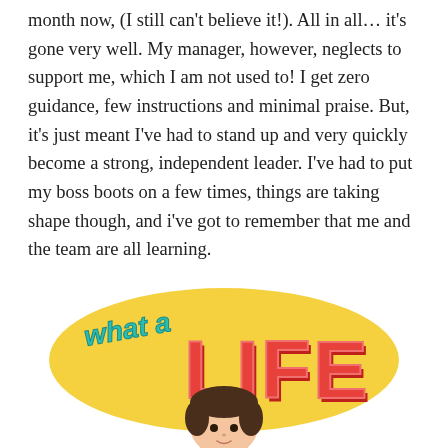month now, (I still can't believe it!). All in all… it's gone very well. My manager, however, neglects to support me, which I am not used to! I get zero guidance, few instructions and minimal praise. But, it's just meant I've had to stand up and very quickly become a strong, independent leader. I've had to put my boss boots on a few times, things are taking shape though, and i've got to remember that me and the team are all learning.
[Figure (illustration): Cartoon illustration with a yellow oval/ellipse background. On the left side, cursive teal text reads 'What a' and large bold red 3D letters spell 'LIFE'. Below the ellipse is a cartoon avatar face with dark brown hair.]